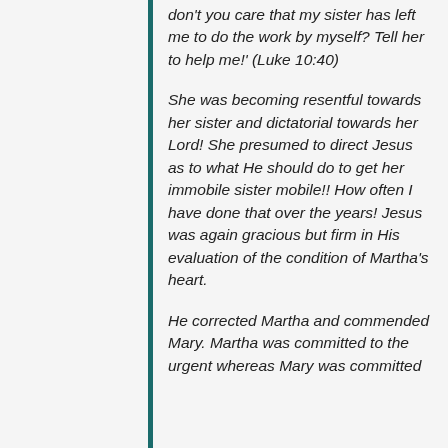don't you care that my sister has left me to do the work by myself? Tell her to help me!' (Luke 10:40)
She was becoming resentful towards her sister and dictatorial towards her Lord! She presumed to direct Jesus as to what He should do to get her immobile sister mobile!! How often I have done that over the years! Jesus was again gracious but firm in His evaluation of the condition of Martha's heart.
He corrected Martha and commended Mary. Martha was committed to the urgent whereas Mary was committed